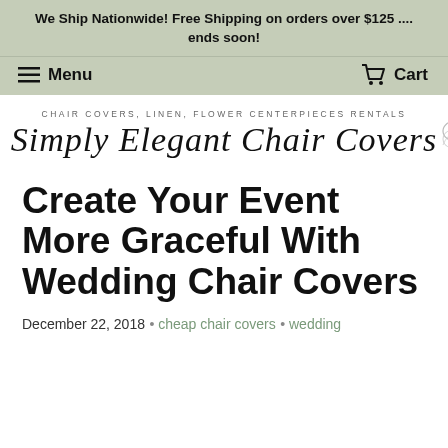We Ship Nationwide! Free Shipping on orders over $125 .... ends soon!
[Figure (logo): Navigation bar with hamburger menu icon and Menu label on left, cart icon and Cart label on right, on sage green background]
[Figure (logo): Simply Elegant Chair Covers logo with script font, subtitle reads CHAIR COVERS, LINEN, FLOWER CENTERPIECES RENTALS, with decorative floral illustration]
Create Your Event More Graceful With Wedding Chair Covers
December 22, 2018  •  cheap chair covers  •  wedding